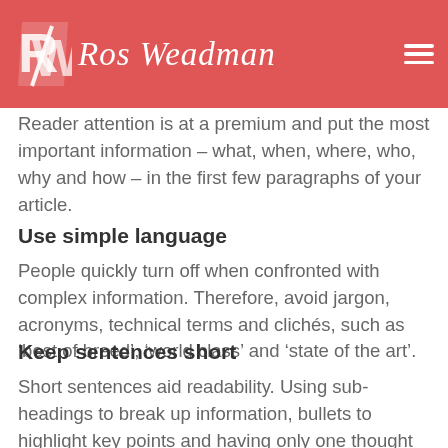Put important information upfront
Reader attention is at a premium and put the most important information – what, when, where, who, why and how – in the first few paragraphs of your article.
[Figure (logo): Ros Weadman logo with RW monogram in white on red background and script text 'Ros Weadman']
Use simple language
People quickly turn off when confronted with complex information. Therefore, avoid jargon, acronyms, technical terms and clichés, such as 'best of breed', 'world class' and 'state of the art'.
Keep sentences short
Short sentences aid readability. Using sub-headings to break up information, bullets to highlight key points and having only one thought per paragraph can also aid readability.